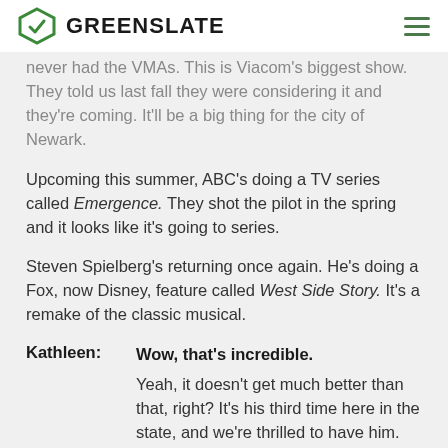GREENSLATE
never had the VMAs. This is Viacom's biggest show. They told us last fall they were considering it and they're coming. It'll be a big thing for the city of Newark.
Upcoming this summer, ABC's doing a TV series called Emergence. They shot the pilot in the spring and it looks like it's going to series.
Steven Spielberg's returning once again. He's doing a Fox, now Disney, feature called West Side Story. It's a remake of the classic musical.
Kathleen: Wow, that's incredible.
Yeah, it doesn't get much better than that, right? It's his third time here in the state, and we're thrilled to have him.